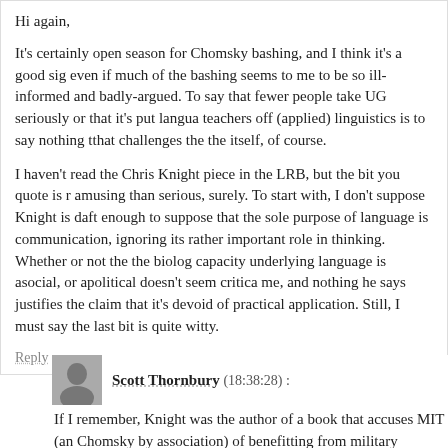Hi again,
It's certainly open season for Chomsky bashing, and I think it's a good sig even if much of the bashing seems to me to be so ill-informed and badly-argued. To say that fewer people take UG seriously or that it's put langua teachers off (applied) linguistics is to say nothing tthat challenges the the itself, of course.
I haven't read the Chris Knight piece in the LRB, but the bit you quote is r amusing than serious, surely. To start with, I don't suppose Knight is daft enough to suppose that the sole purpose of language is communication, ignoring its rather important role in thinking. Whether or not the the biolog capacity underlying language is asocial, or apolitical doesn't seem critica me, and nothing he says justifies the claim that it's devoid of practical application. Still, I must say the last bit is quite witty.
Reply
Scott Thornbury (18:38:28) :
If I remember, Knight was the author of a book that accuses MIT (an Chomsky by association) of benefitting from military funding during th was. As you say, that makes not a jot of difference to the validity of t